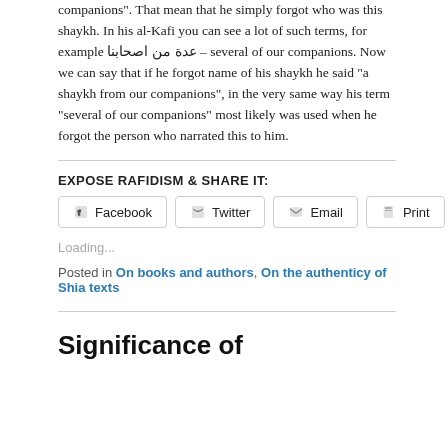companions". That mean that he simply forgot who was this shaykh. In his al-Kafi you can see a lot of such terms, for example عدة من اصحابنا – several of our companions. Now we can say that if he forgot name of his shaykh he said "a shaykh from our companions", in the very same way his term "several of our companions" most likely was used when he forgot the person who narrated this to him.
EXPOSE RAFIDISM & SHARE IT:
Facebook  Twitter  Email  Print
Loading...
Posted in On books and authors, On the authenticy of Shia texts
Significance of